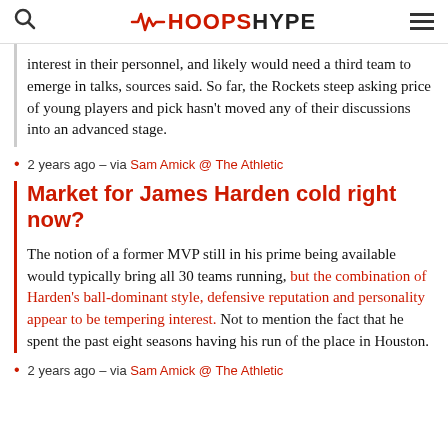HOOPSHYPE
interest in their personnel, and likely would need a third team to emerge in talks, sources said. So far, the Rockets steep asking price of young players and pick hasn't moved any of their discussions into an advanced stage.
2 years ago – via Sam Amick @ The Athletic
Market for James Harden cold right now?
The notion of a former MVP still in his prime being available would typically bring all 30 teams running, but the combination of Harden's ball-dominant style, defensive reputation and personality appear to be tempering interest. Not to mention the fact that he spent the past eight seasons having his run of the place in Houston.
2 years ago – via Sam Amick @ The Athletic